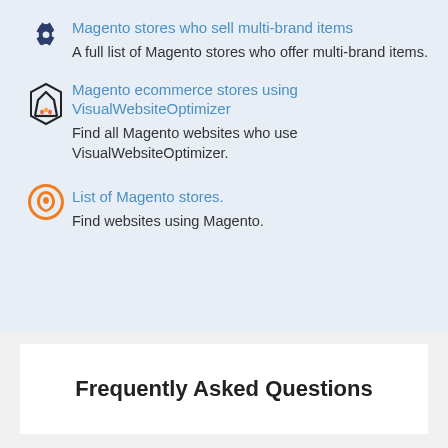Magento stores who sell multi-brand items
A full list of Magento stores who offer multi-brand items.
Magento ecommerce stores using VisualWebsiteOptimizer
Find all Magento websites who use VisualWebsiteOptimizer.
List of Magento stores.
Find websites using Magento.
Frequently Asked Questions